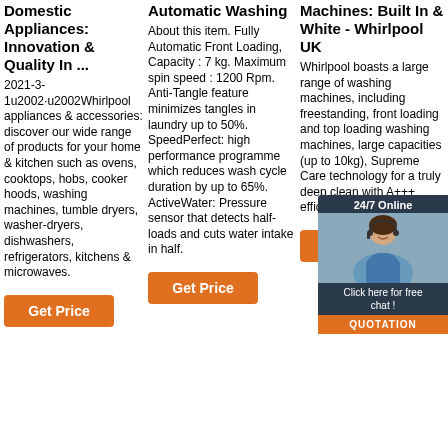Domestic Appliances: Innovation & Quality In ...
2021-3-1u2002·u2002Whirlpool appliances & accessories: discover our wide range of products for your home & kitchen such as ovens, cooktops, hobs, cooker hoods, washing machines, tumble dryers, washer-dryers, dishwashers, refrigerators, kitchens & microwaves.
Automatic Washing
About this item. Fully Automatic Front Loading, Capacity : 7 kg. Maximum spin speed : 1200 Rpm. Anti-Tangle feature minimizes tangles in laundry up to 50%. SpeedPerfect: high performance programme which reduces wash cycle duration by up to 65%. ActiveWater: Pressure sensor that detects half-loads and cuts water intake in half.
Machines: Built In & White - Whirlpool UK
Whirlpool boasts a large range of washing machines, including freestanding, front loading and top loading washing machines, large capacities (up to 10kg), Supreme Care technology for a truly deep clean with A+++ efficiency.
[Figure (photo): Customer service agent with headset, chat widget overlay showing '24/7 Online', 'Click here for free chat!', and 'QUOTATION' button]
[Figure (infographic): Top/back-to-top circular icon with red paint drips in orange/red]